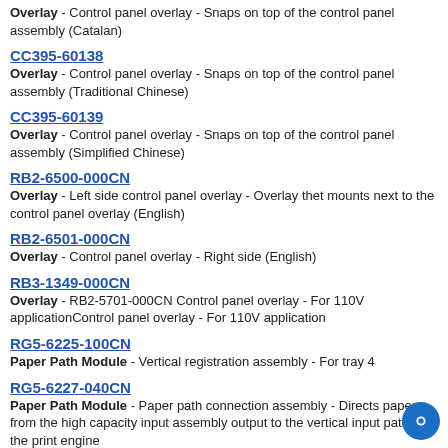Overlay - Control panel overlay - Snaps on top of the control panel assembly (Catalan)
CC395-60138
Overlay - Control panel overlay - Snaps on top of the control panel assembly (Traditional Chinese)
CC395-60139
Overlay - Control panel overlay - Snaps on top of the control panel assembly (Simplified Chinese)
RB2-6500-000CN
Overlay - Left side control panel overlay - Overlay thet mounts next to the control panel overlay (English)
RB2-6501-000CN
Overlay - Control panel overlay - Right side (English)
RB3-1349-000CN
Overlay - RB2-5701-000CN Control panel overlay - For 110V applicationControl panel overlay - For 110V application
RG5-6225-100CN
Paper Path Module - Vertical registration assembly - For tray 4
RG5-6227-040CN
Paper Path Module - Paper path connection assembly - Directs paper from the high capacity input assembly output to the vertical input path on the print engine